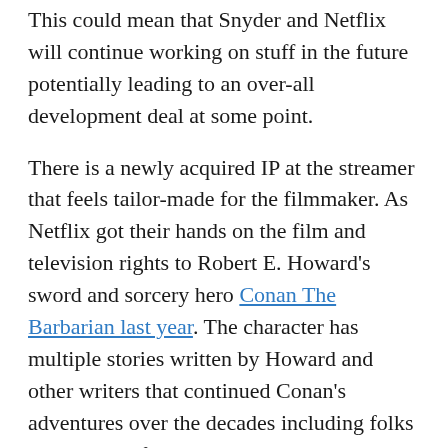This could mean that Snyder and Netflix will continue working on stuff in the future potentially leading to an over-all development deal at some point.
There is a newly acquired IP at the streamer that feels tailor-made for the filmmaker. As Netflix got their hands on the film and television rights to Robert E. Howard's sword and sorcery hero Conan The Barbarian last year. The character has multiple stories written by Howard and other writers that continued Conan's adventures over the decades including folks like Wheel of Time's Robert Jordan.
In my opinion, there is really only one solid live-action adaptation and that is the fantastic John Milius movie from 1982 that starred Arnold Schwarzenegger and James Earl Jones. The film got made thanks in part to the